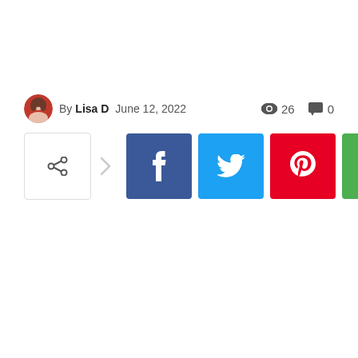By Lisa D  June 12, 2022   👁 26  💬 0
[Figure (other): Social share buttons row: share icon button, arrow, Facebook, Twitter, Pinterest, WhatsApp]